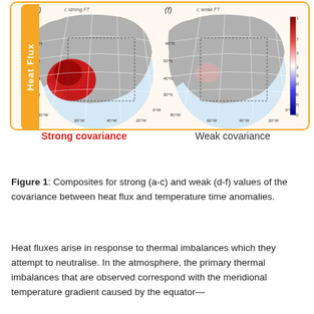[Figure (map): Two side-by-side map composites labeled (c) r, strong FT and (f) r, weak FT showing heat flux anomalies over the North Atlantic. The strong covariance map (c) shows a large red/warm anomaly in the western North Atlantic. The weak covariance map (f) is mostly gray with little anomaly. A color bar on the right runs from -100 to 100. Both maps show latitude lines 30N–60N and longitude lines 80W–0W. A red/orange rounded box labeled 'Heat Flux' on the left encloses both maps.]
Strong covariance   Weak covariance
Figure 1: Composites for strong (a-c) and weak (d-f) values of the covariance between heat flux and temperature time anomalies.
Heat fluxes arise in response to thermal imbalances which they attempt to neutralise. In the atmosphere, the primary thermal imbalances that are observed correspond with the meridional temperature gradient caused by the equator—